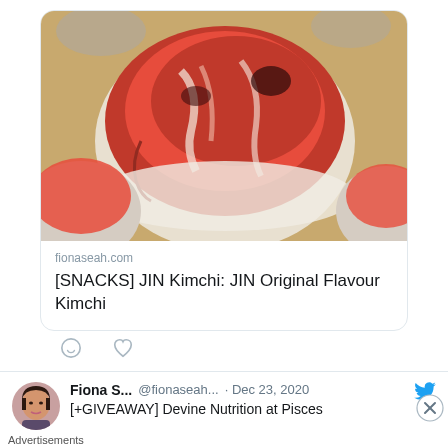[Figure (photo): Photo of kimchi in a white bowl on a golden plate, with red spicy sauce, served Korean style]
fionaseah.com
[SNACKS] JIN Kimchi: JIN Original Flavour Kimchi
[Figure (infographic): Tweet action icons: comment bubble and heart/like icon]
[Figure (photo): Avatar photo of Fiona S., a woman with dark hair]
Fiona S... @fionaseah... · Dec 23, 2020
[+GIVEAWAY] Devine Nutrition at Pisces
Advertisements
[Figure (infographic): Longreads advertisement banner: red background with Longreads logo and tagline 'The best stories on the web – ours, and everyone else's.']